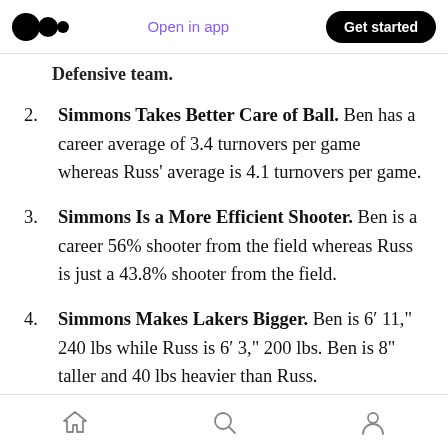Medium logo | Open in app | Get started
Defensive team.
2. Simmons Takes Better Care of Ball. Ben has a career average of 3.4 turnovers per game whereas Russ' average is 4.1 turnovers per game.
3. Simmons Is a More Efficient Shooter. Ben is a career 56% shooter from the field whereas Russ is just a 43.8% shooter from the field.
4. Simmons Makes Lakers Bigger. Ben is 6′ 11," 240 lbs while Russ is 6′ 3," 200 lbs. Ben is 8" taller and 40 lbs heavier than Russ.
Home | Search | Profile